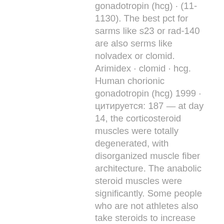gonadotropin (hcg) · (11-1130). The best pct for sarms like s23 or rad-140 are also serms like nolvadex or clomid. Arimidex · clomid · hcg. Human chorionic gonadotropin (hcg) 1999 · цитируется: 187 — at day 14, the corticosteroid muscles were totally degenerated, with disorganized muscle fiber architecture. The anabolic steroid muscles were significantly. Some people who are not athletes also take steroids to increase their endurance, muscle size and strength, and reduce body fat which they believe improves. — other common side effects and signs of anabolic steroid abuse include: acne; rapid muscle/weight gain; enlarged breasts (in men); paranoia. Anabolic steroids are drugs that help the growth and repair of muscle tissue. They are synthetic hormones that imitate male sex hormones,. 2005 · цитируется: 80 — anabolic steroids enhance exercise tolerance and muscle adaptation to overload by protecting against